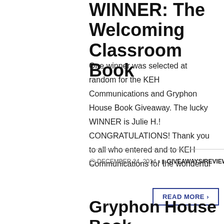WINNER: The Welcoming Classroom Book
One winner was selected at random for the KEH Communications and Gryphon House Book Giveaway. The lucky WINNER is Julie H.!  CONGRATULATIONS! Thank you to all who entered and to KEH Communications for the wonderful
DECEMBER 24, 2014 • GIVEAWAYS/REVIEWS • VIEWS: 1583
READ MORE ›
Gryphon House Book GIVEAWAY